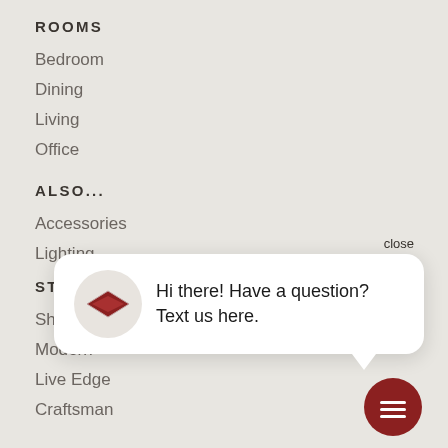ROOMS
Bedroom
Dining
Living
Office
ALSO...
Accessories
Lighting
STYLES
Shaker
Modern
Live Edge
Craftsman
close
Hi there! Have a question? Text us here.